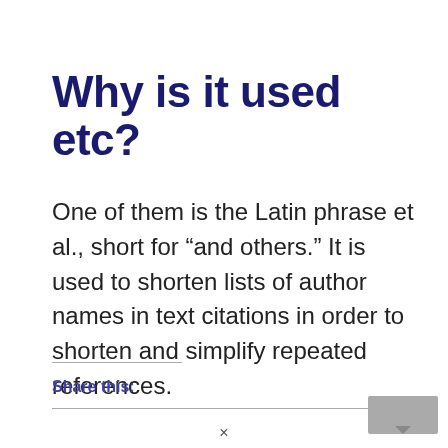Why is it used etc?
One of them is the Latin phrase et al., short for “and others.” It is used to shorten lists of author names in text citations in order to shorten and simplify repeated references.
Share this: